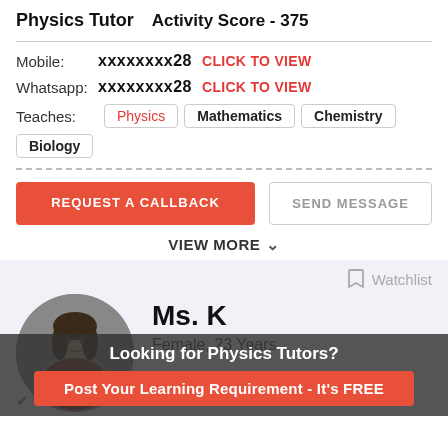Physics Tutor   Activity Score - 375
Mobile:  xxxxxxxx28   CLICK TO VIEW
Whatsapp:  xxxxxxxx28   CLICK TO VIEW
Teaches:  Physics  Mathematics  Chemistry  Biology
REQUEST A CALLBACK
SEND MESSAGE
VIEW MORE
Watchlist
Ms. K
Female, 23 Years
Looking for Physics Tutors?
Post Your Learning Requirement - It's FREE